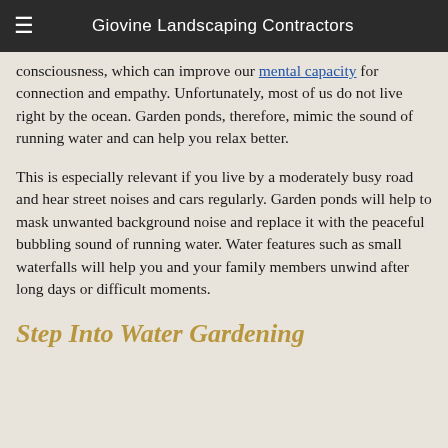Giovine Landscaping Contractors
consciousness, which can improve our mental capacity for connection and empathy. Unfortunately, most of us do not live right by the ocean. Garden ponds, therefore, mimic the sound of running water and can help you relax better.
This is especially relevant if you live by a moderately busy road and hear street noises and cars regularly. Garden ponds will help to mask unwanted background noise and replace it with the peaceful bubbling sound of running water. Water features such as small waterfalls will help you and your family members unwind after long days or difficult moments.
Step Into Water Gardening